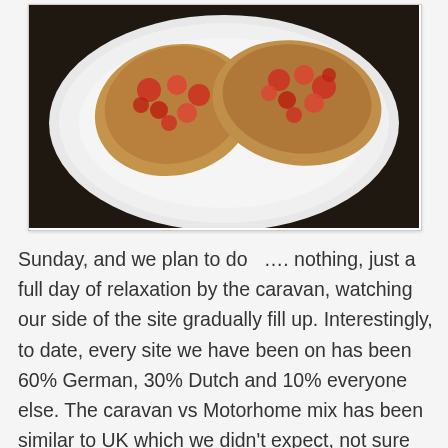[Figure (photo): A white plate with bruschetta topped with diced tomatoes, photographed from above on a dark background.]
Sunday, and we plan to do  …. nothing, just a full day of relaxation by the caravan, watching our side of the site gradually fill up. Interestingly, to date, every site we have been on has been 60% German, 30% Dutch and 10% everyone else. The caravan vs Motorhome mix has been similar to UK which we didn't expect, not sure why, but we thought Europeans preferred the Motorhome. Generally, we have found people friendly, in four weeks, not one person has been rude, we have struck numerous 'site-time' friendships with Dutch people who put us to shame with their linguistic skills. We struggle communicating with German people due to the